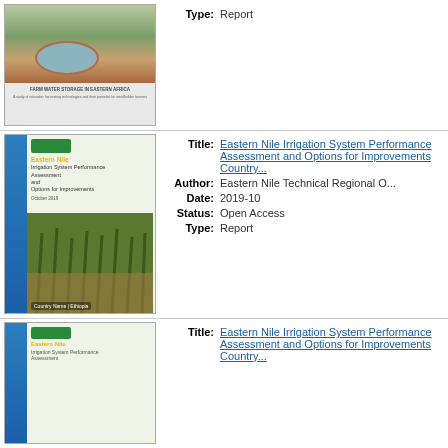[Figure (photo): Thumbnail of report cover showing aerial/ground view of irrigation pond in agricultural land]
Type: Report
[Figure (photo): Cover of Eastern Nile Irrigation System Performance Assessment and Options for Improvements report, showing maize crop field in Ethiopia, with blue diagonal bar and green/yellow logo]
Title: Eastern Nile Irrigation System Performance Assessment and Options for Improvements Country... Author: Eastern Nile Technical Regional O... Date: 2019-10 Status: Open Access Type: Report
[Figure (photo): Partial thumbnail of another Eastern Nile Irrigation System report cover, similar design with blue bar]
Title: Eastern Nile Irrigation System Pe... Options for Improvements Countr...